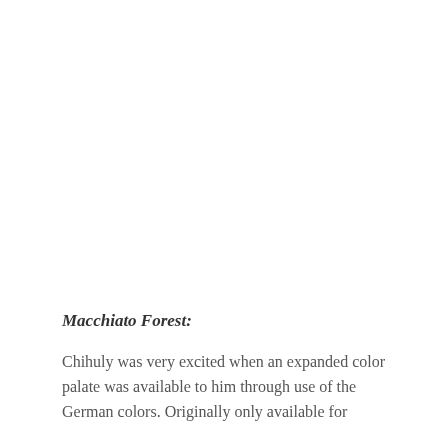Macchiato Forest:
Chihuly was very excited when an expanded color palate was available to him through use of the German colors. Originally only available for